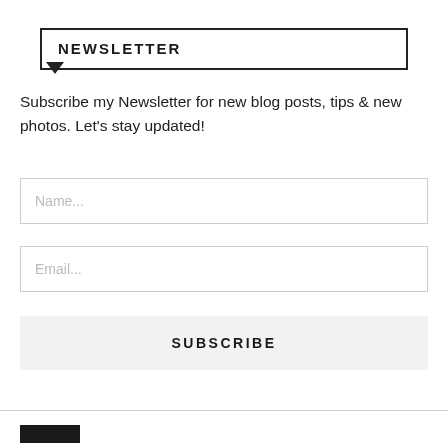NEWSLETTER
Subscribe my Newsletter for new blog posts, tips & new photos. Let's stay updated!
Name...
Email...
SUBSCRIBE